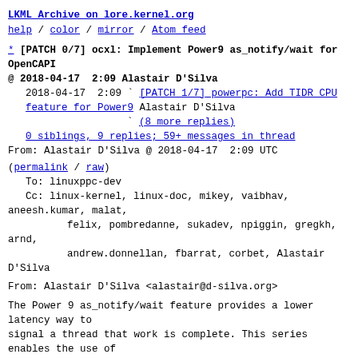LKML Archive on lore.kernel.org
help / color / mirror / Atom feed
* [PATCH 0/7] ocxl: Implement Power9 as_notify/wait for OpenCAPI
@ 2018-04-17  2:09 Alastair D'Silva
  2018-04-17  2:09 ` [PATCH 1/7] powerpc: Add TIDR CPU feature for Power9 Alastair D'Silva
                  ` (8 more replies)
  0 siblings, 9 replies; 59+ messages in thread
From: Alastair D'Silva @ 2018-04-17  2:09 UTC
(permalink / raw)
To: linuxppc-dev
Cc: linux-kernel, linux-doc, mikey, vaibhav, aneesh.kumar, malat,
        felix, pombredanne, sukadev, npiggin, gregkh, arnd,
        andrew.donnellan, fbarrat, corbet, Alastair D'Silva
From: Alastair D'Silva <alastair@d-silva.org>
The Power 9 as_notify/wait feature provides a lower latency way to
signal a thread that work is complete. This series enables the use of
this feature from OpenCAPI adapters, as well as addressing a potential
starvation issue when allocating thread IDs.